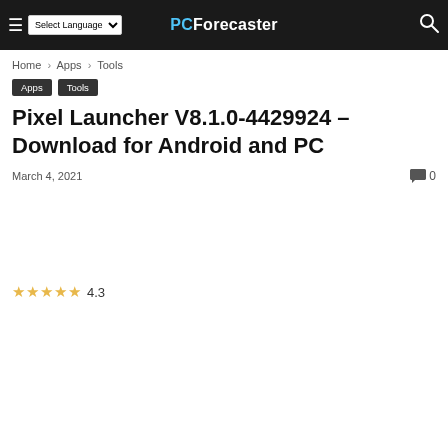PCForecaster
Home › Apps › Tools
Apps
Tools
Pixel Launcher V8.1.0-4429924 – Download for Android and PC
March 4, 2021
0
★★★★★ 4.3